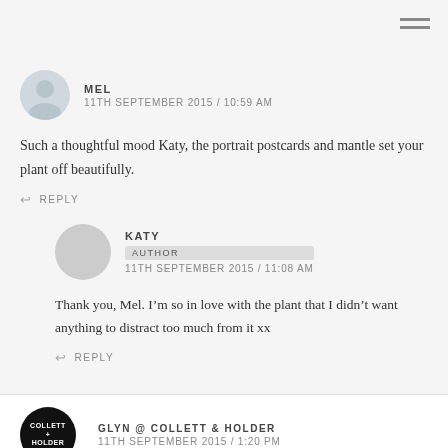MEL
11TH SEPTEMBER 2015 / 10:59 AM
Such a thoughtful mood Katy, the portrait postcards and mantle set your plant off beautifully.
REPLY
KATY
AUTHOR
11TH SEPTEMBER 2015 / 11:08 AM
Thank you, Mel. I’m so in love with the plant that I didn’t want anything to distract too much from it xx
REPLY
GLYN @ COLLETT & HOLDER
11TH SEPTEMBER 2015 / 1:20 PM